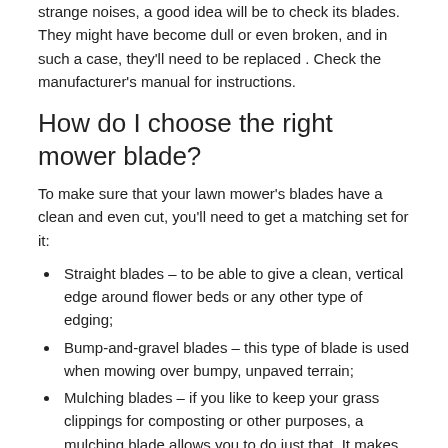strange noises, a good idea will be to check its blades. They might have become dull or even broken, and in such a case, they'll need to be replaced . Check the manufacturer's manual for instructions.
How do I choose the right mower blade?
To make sure that your lawn mower's blades have a clean and even cut, you'll need to get a matching set for it:
Straight blades – to be able to give a clean, vertical edge around flower beds or any other type of edging;
Bump-and-gravel blades – this type of blade is used when mowing over bumpy, unpaved terrain;
Mulching blades – if you like to keep your grass clippings for composting or other purposes, a mulching blade allows you to do just that. It makes sure all the clippings are chopped up until they become very fine;
Discharge blades – these blades are used to simply dump the grass clippings after mowing.
What is a mulching kit?